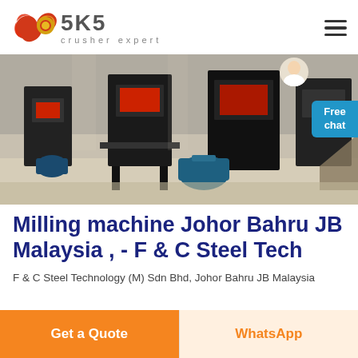[Figure (logo): SKS Crusher Expert logo with red stylized interlinked circles icon and grey SKS text with 'crusher expert' subtitle]
[Figure (photo): Industrial crusher/milling machinery on a factory floor, with several large black machine frames and a blue electric motor in the foreground. A customer service representative overlay in top-right corner with a 'Free chat' button.]
Milling machine Johor Bahru JB Malaysia , - F & C Steel Tech
F & C Steel Technology (M) Sdn Bhd, Johor Bahru JB Malaysia